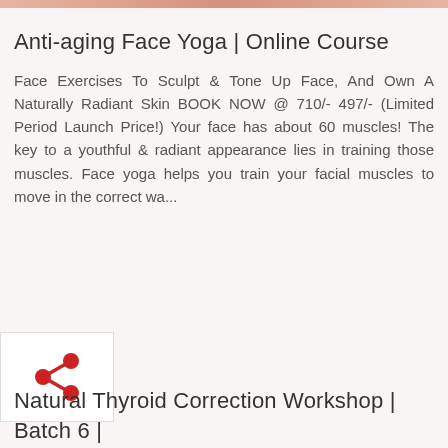[Figure (photo): Top cropped banner image of a face yoga or wellness related photo, partially visible at the top of the page]
Anti-aging Face Yoga | Online Course
Face Exercises To Sculpt & Tone Up Face, And Own A Naturally Radiant Skin BOOK NOW @ 710/- 497/- (Limited Period Launch Price!) Your face has about 60 muscles! The key to a youthful & radiant appearance lies in training those muscles. Face yoga helps you train your facial muscles to move in the correct wa...
[Figure (illustration): Share icon — red share/fork symbol consisting of three circles connected by lines]
Natural Thyroid Correction Workshop | Batch 6 | 14-16 Sep | 6:30 - 8:00 Pm